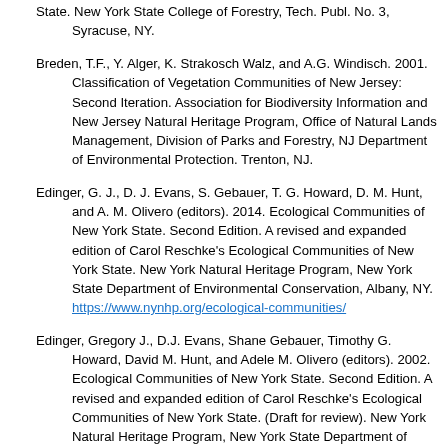State. New York State College of Forestry, Tech. Publ. No. 3, Syracuse, NY.
Breden, T.F., Y. Alger, K. Strakosch Walz, and A.G. Windisch. 2001. Classification of Vegetation Communities of New Jersey: Second Iteration. Association for Biodiversity Information and New Jersey Natural Heritage Program, Office of Natural Lands Management, Division of Parks and Forestry, NJ Department of Environmental Protection. Trenton, NJ.
Edinger, G. J., D. J. Evans, S. Gebauer, T. G. Howard, D. M. Hunt, and A. M. Olivero (editors). 2014. Ecological Communities of New York State. Second Edition. A revised and expanded edition of Carol Reschke's Ecological Communities of New York State. New York Natural Heritage Program, New York State Department of Environmental Conservation, Albany, NY. https://www.nynhp.org/ecological-communities/
Edinger, Gregory J., D.J. Evans, Shane Gebauer, Timothy G. Howard, David M. Hunt, and Adele M. Olivero (editors). 2002. Ecological Communities of New York State. Second Edition. A revised and expanded edition of Carol Reschke's Ecological Communities of New York State. (Draft for review). New York Natural Heritage Program, New York State Department of